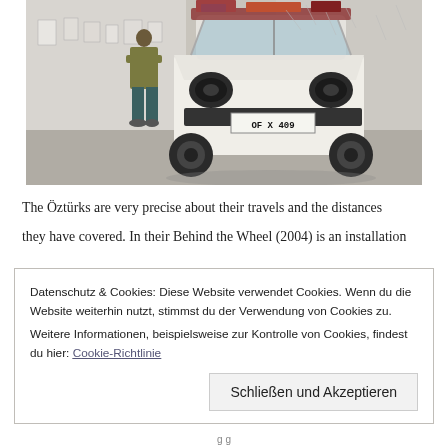[Figure (photo): An art gallery interior showing a white compact car with license plate 'OF X 409' loaded with items on its roof. A person stands to the left viewing the installation. White walls with artwork visible in background.]
The Öztürks are very precise about their travels and the distances they have covered. In their Behind the Wheel (2004) is an installation
Datenschutz & Cookies: Diese Website verwendet Cookies. Wenn du die Website weiterhin nutzt, stimmst du der Verwendung von Cookies zu.
Weitere Informationen, beispielsweise zur Kontrolle von Cookies, findest du hier: Cookie-Richtlinie
Schließen und Akzeptieren